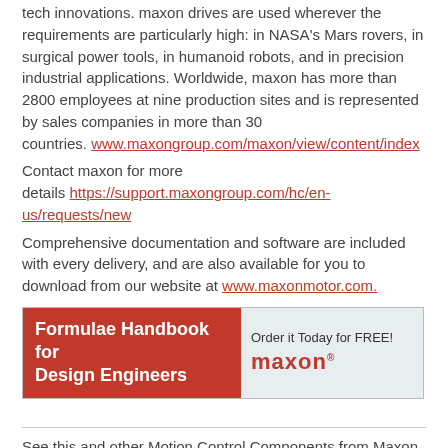tech innovations. maxon drives are used wherever the requirements are particularly high: in NASA's Mars rovers, in surgical power tools, in humanoid robots, and in precision industrial applications. Worldwide, maxon has more than 2800 employees at nine production sites and is represented by sales companies in more than 30 countries. www.maxongroup.com/maxon/view/content/index
Contact maxon for more details https://support.maxongroup.com/hc/en-us/requests/new
Comprehensive documentation and software are included with every delivery, and are also available for you to download from our website at www.maxonmotor.com.
[Figure (infographic): Maxon Formulae Handbook for Design Engineers banner advertisement. Red left panel with white bold text 'Formulae Handbook for Design Engineers'. Right panel on light background with text 'Order it Today for FREE!' and maxon logo in red.]
See this and other Motion Control Components from Maxon featured on:
http://MotionC...